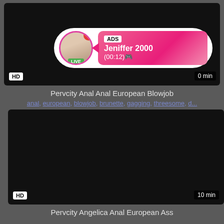[Figure (screenshot): Video thumbnail with dark background, HD badge bottom-left, time badge bottom-right showing partial '0 min', overlaid ad banner with avatar, LIVE badge, ADS label, name 'Jeniffer 2000', time '(00:12)']
Pervcity Anal Anal European Blowjob
anal, european, blowjob, brunette, gagging, threesome, d...
[Figure (screenshot): Dark/black video thumbnail with HD badge bottom-left and '10 min' badge bottom-right]
Pervcity Angelica Anal European Ass